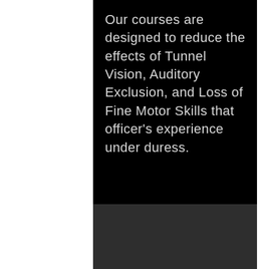Our courses are designed to reduce the effects of Tunnel Vision, Auditory Exclusion, and Loss of Fine Motor Skills that officer's experience under duress.